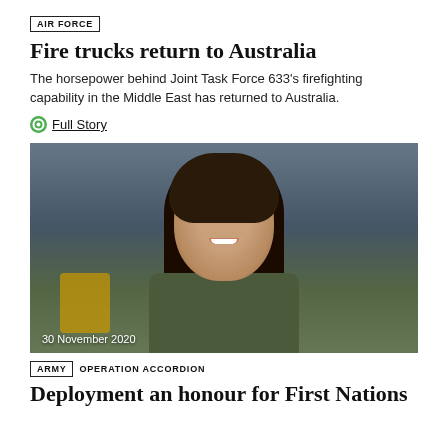AIR FORCE
Fire trucks return to Australia
The horsepower behind Joint Task Force 633's firefighting capability in the Middle East has returned to Australia.
Full Story
[Figure (photo): Smiling young woman with dark hair pulled back, wearing an olive/green shirt, photographed in a blurred indoor military/warehouse setting with bokeh background. Date caption reads 30 November 2020.]
ARMY  OPERATION ACCORDION
Deployment an honour for First Nations…